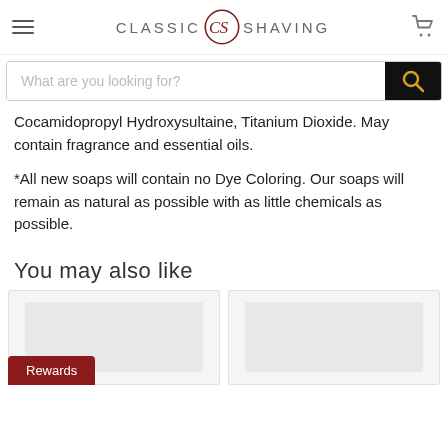Classic Shaving
Cocamidopropyl Hydroxysultaine, Titanium Dioxide. May contain fragrance and essential oils.
*All new soaps will contain no Dye Coloring.  Our soaps will remain as natural as possible with as little chemicals as possible.
You may also like
[Figure (other): Two product card placeholders with grey backgrounds]
Rewards